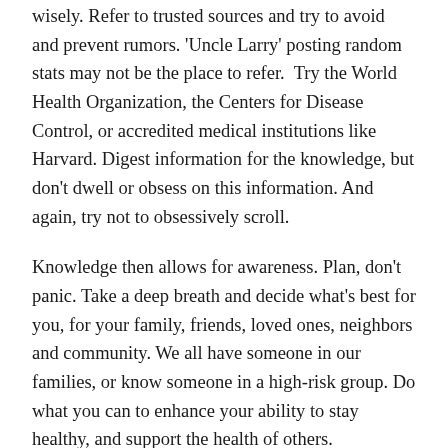wisely. Refer to trusted sources and try to avoid and prevent rumors. 'Uncle Larry' posting random stats may not be the place to refer.  Try the World Health Organization, the Centers for Disease Control, or accredited medical institutions like Harvard. Digest information for the knowledge, but don't dwell or obsess on this information. And again, try not to obsessively scroll.
Knowledge then allows for awareness. Plan, don't panic. Take a deep breath and decide what's best for you, for your family, friends, loved ones, neighbors and community. We all have someone in our families, or know someone in a high-risk group. Do what you can to enhance your ability to stay healthy, and support the health of others.
Our local schools are closed, and learning will continue online for all of our kids. We cover college, high school and